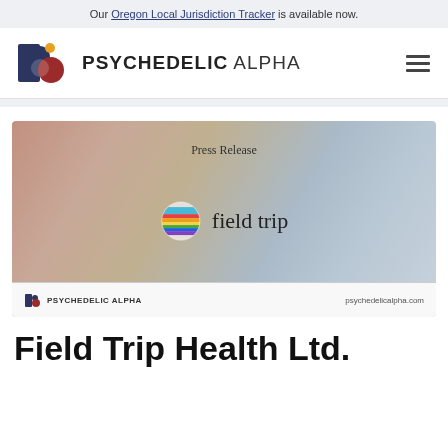Our Oregon Local Jurisdiction Tracker is available now.
[Figure (logo): Psychedelic Alpha logo with stylized P and circle shapes in dark blue, orange, and red, with text PSYCHEDELIC ALPHA and hamburger menu icon]
[Figure (illustration): Press Release banner image with gradient background in warm and cool tones, Field Trip logo (colorful circle icon with horizontal stripes) and 'field trip' text in center, Psychedelic Alpha branding at bottom left and psychedelicalpha.com at bottom right]
Field Trip Health Ltd.